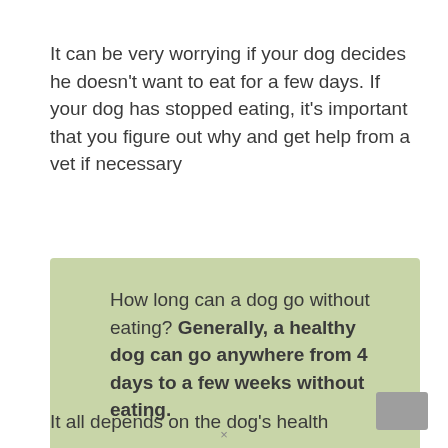It can be very worrying if your dog decides he doesn't want to eat for a few days. If your dog has stopped eating, it's important that you figure out why and get help from a vet if necessary
How long can a dog go without eating? Generally, a healthy dog can go anywhere from 4 days to a few weeks without eating.
It all depends on the dog's health